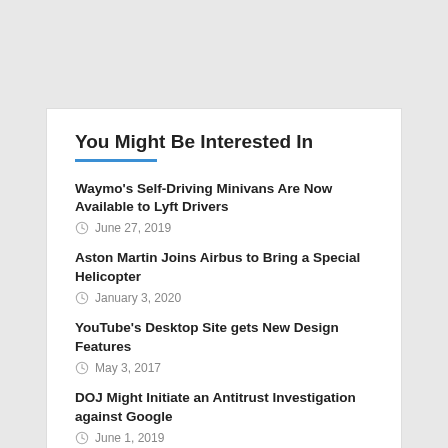You Might Be Interested In
Waymo's Self-Driving Minivans Are Now Available to Lyft Drivers
June 27, 2019
Aston Martin Joins Airbus to Bring a Special Helicopter
January 3, 2020
YouTube's Desktop Site gets New Design Features
May 3, 2017
DOJ Might Initiate an Antitrust Investigation against Google
June 1, 2019